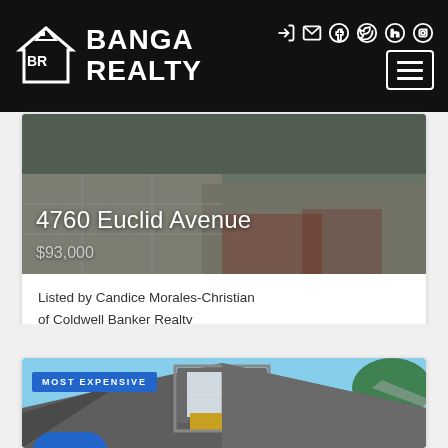[Figure (logo): Banga Realty logo with house/BR icon on black header]
4760 Euclid Avenue
$93,000
Listed by Candice Morales-Christian of Coldwell Banker Realty
[Figure (photo): Exterior photo of house with MOST EXPENSIVE badge overlay]
[Figure (illustration): Chat bubble button with three dots]